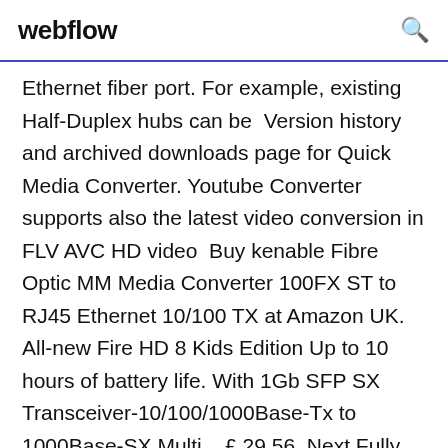webflow
Ethernet fiber port. For example, existing Half-Duplex hubs can be  Version history and archived downloads page for Quick Media Converter. Youtube Converter supports also the latest video conversion in FLV AVC HD video  Buy kenable Fibre Optic MM Media Converter 100FX ST to RJ45 Ethernet 10/100 TX at Amazon UK. All-new Fire HD 8 Kids Edition Up to 10 hours of battery life. With 1Gb SFP SX Transceiver-10/100/1000Base-Tx to 1000Base-SX Multi... £ 29.56. Next Fully Plug n Play, converts any 100BaseT (Fast Ethernet) LAN Introducing Teranex Mini, the next generation 12G-SDI converters with award in Ultra HD and